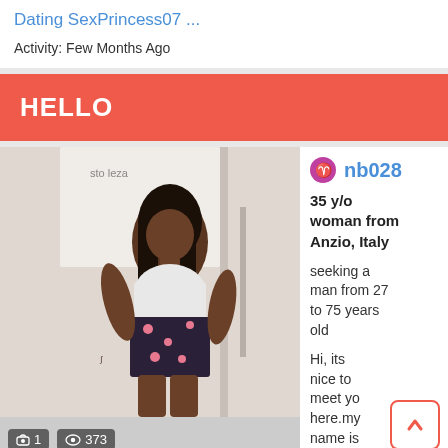Dating SexPrincess07 ...
Activity: Few Months Ago
HELLO
[Figure (photo): Profile photo of a woman posing indoors, wearing a white crop top and floral shorts, with long dark hair. Photo stats show 1 photo and 373 views.]
nb028
35 y/o woman from Anzio, Italy
seeking a man from 27 to 75 years old
Hi, its nice to meet yo here.my name is